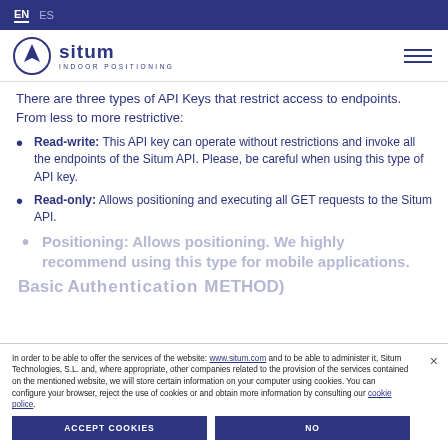EN  ES
[Figure (logo): Situm Indoor Positioning logo with navigation arrow circle icon]
There are three types of API Keys that restrict access to endpoints. From less to more restrictive:
Read-write: This API key can operate without restrictions and invoke all the endpoints of the Situm API. Please, be careful when using this type of API key.
Read-only: Allows positioning and executing all GET requests to the Situm API.
Positioning: Allows positioning. We highly recommend using this type for mobile applications.
Basic Au... M...OED)
In order to be able to offer the services of the website: www.situm.com and to be able to administer it, Situm Technologies, S.L. and, where appropriate, other companies related to the provision of the services contained on the mentioned website, we will store certain information on your computer using cookies. You can configure your browser, reject the use of cookies or and obtain more information by consulting our cookie police.